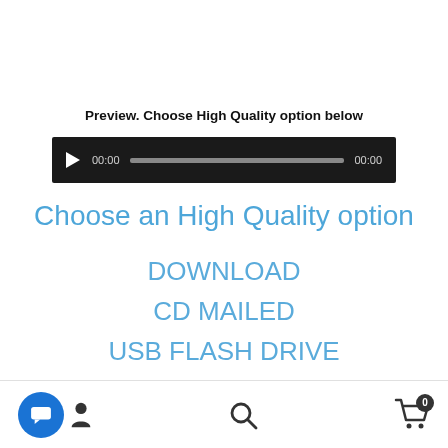Preview. Choose High Quality option below
[Figure (screenshot): Audio player bar with play button, 00:00 time, scrubber, and 00:00 end time on dark background]
Choose an High Quality option
DOWNLOAD
CD MAILED
USB FLASH DRIVE
[Figure (screenshot): Bottom navigation bar with chat/profile icon, search icon, and shopping cart with badge 0]